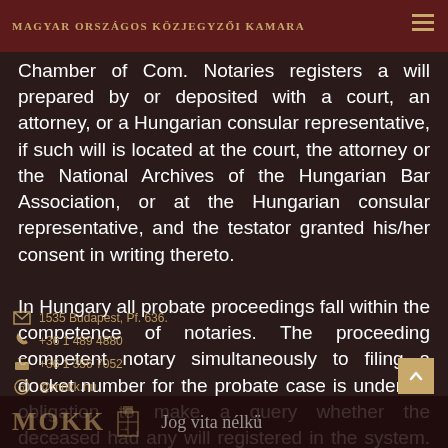Magyar Országos Közjegyzői Kamara
Chamber of Com. Notaries registers a will prepared by or deposited with a court, an attorney, or a Hungarian consular representative, if such will is located at the court, the attorney or the National Archives of the Hungarian Bar Association, or at the Hungarian consular representative, and the testator granted his/her consent in writing thereto.
In Hungary all probate proceedings fall within the competence of notaries. The proceeding competent notary simultaneously to filing a docket number for the probate case is under an obligation to make a query whether the deceased had any will registered in the system. In the event of an affirmative answer, the notary has to find the notary or attorney safekeeping the will to attach a copy of it to the probate file.
Registration of a will and retrieval is free of charge.
MOKK Jog vita nélkü